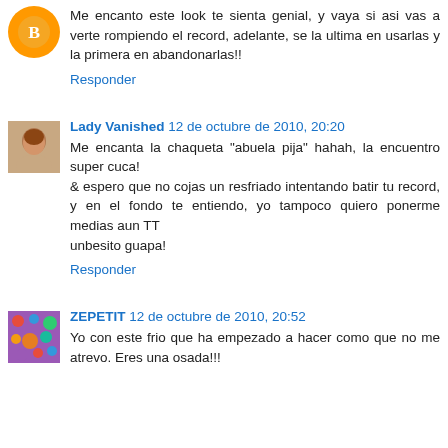Me encanto este look te sienta genial, y vaya si asi vas a verte rompiendo el record, adelante, se la ultima en usarlas y la primera en abandonarlas!!
Responder
Lady Vanished 12 de octubre de 2010, 20:20
Me encanta la chaqueta "abuela pija" hahah, la encuentro super cuca!
& espero que no cojas un resfriado intentando batir tu record, y en el fondo te entiendo, yo tampoco quiero ponerme medias aun TT
unbesito guapa!
Responder
ZEPETIT 12 de octubre de 2010, 20:52
Yo con este frio que ha empezado a hacer como que no me atrevo. Eres una osada!!!